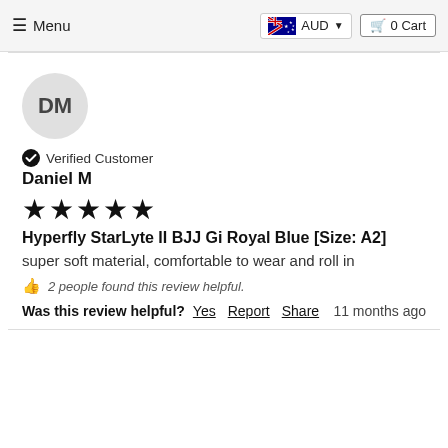≡ Menu  AUD  🛒 0 Cart
[Figure (illustration): Avatar circle with initials DM in grey background]
Verified Customer
Daniel M
★★★★★
Hyperfly StarLyte II BJJ Gi Royal Blue [Size: A2]
super soft material, comfortable to wear and roll in
2 people found this review helpful.
Was this review helpful? Yes  Report  Share  11 months ago